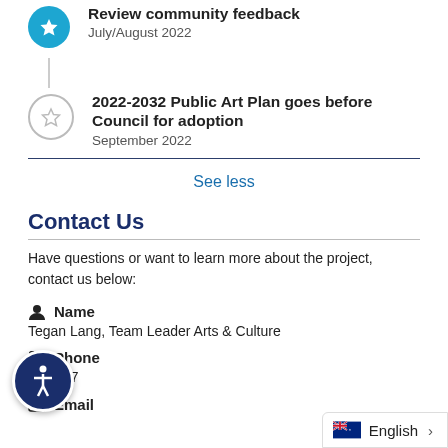Review community feedback
July/August 2022
2022-2032 Public Art Plan goes before Council for adoption
September 2022
See less
Contact Us
Have questions or want to learn more about the project, contact us below:
Name
Tegan Lang, Team Leader Arts & Culture
Phone
42 0777
Email